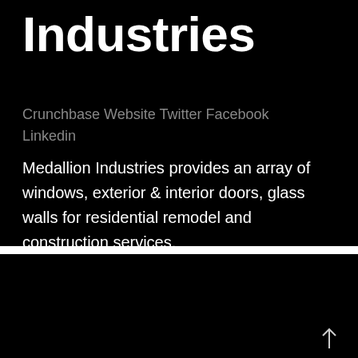Industries
Crunchbase Website Twitter Facebook Linkedin
Medallion Industries provides an array of windows, exterior & interior doors, glass walls for residential remodel and construction services.